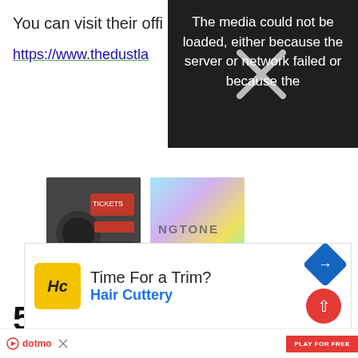You can visit their offi...
https://www.thedustla...
[Figure (screenshot): Video player error overlay with black background and text: 'The media could not be loaded, either because the server or network failed or because the' with a large X cross icon]
[Figure (screenshot): Advertisement block showing two ads side by side: 'We Found the Cheapest Tickets' from SI Tickets with Shop Now button, and '100% Free Ringtone Download' from Appurse]
X
5. D
[Figure (screenshot): Hair Cuttery advertisement banner: 'Time For a Trim? Hair Cuttery' with yellow HC logo, blue navigation diamond icon, and red scroll-up button]
dotmo  X   PLAY FOR FREE